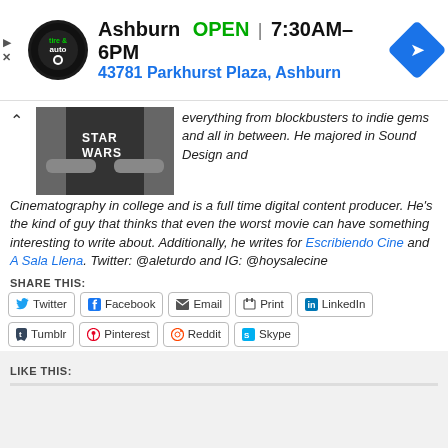[Figure (screenshot): Ad banner for Ashburn tire & auto showing logo, OPEN status, hours 7:30AM-6PM, and address 43781 Parkhurst Plaza, Ashburn with navigation arrow icon]
everything from blockbusters to indie gems and all in between. He majored in Sound Design and Cinematography in college and is a full time digital content producer. He's the kind of guy that thinks that even the worst movie can have something interesting to write about. Additionally, he writes for Escribiendo Cine and A Sala Llena. Twitter: @aleturdo and IG: @hoysalecine
SHARE THIS:
Twitter  Facebook  Email  Print  LinkedIn  Tumblr  Pinterest  Reddit  Skype
LIKE THIS: